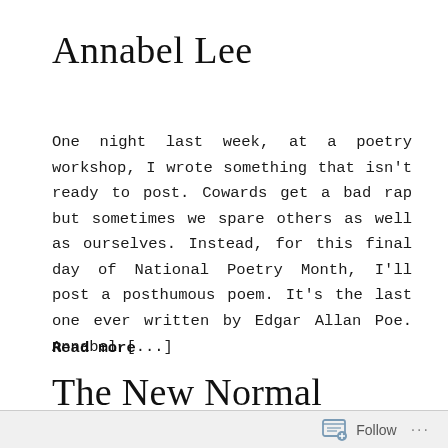Annabel Lee
One night last week, at a poetry workshop, I wrote something that isn't ready to post. Cowards get a bad rap but sometimes we spare others as well as ourselves. Instead, for this final day of National Poetry Month, I'll post a posthumous poem. It's the last one ever written by Edgar Allan Poe. Annabel [...]
Read more
The New Normal
Follow ...